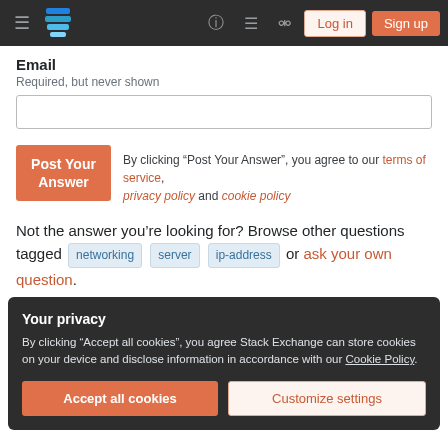Stack Exchange navigation bar with Log in and Sign up buttons
Email
Required, but never shown
Post Your Answer
By clicking “Post Your Answer”, you agree to our terms of service, privacy policy and cookie policy
Not the answer you’re looking for? Browse other questions tagged networking server ip-address or ask your own question.
Your privacy
By clicking “Accept all cookies”, you agree Stack Exchange can store cookies on your device and disclose information in accordance with our Cookie Policy.
Accept all cookies
Customize settings